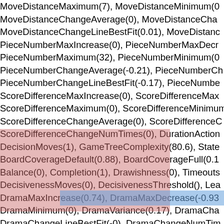MoveDistanceMaximum(7), MoveDistanceMinimum(0), MoveDistanceChangeAverage(0), MoveDistanceChangeLineBestFit(0.01), MoveDistancePieceNumberMaxIncrease(0), PieceNumberMaxDecrease(), PieceNumberMaximum(32), PieceNumberMinimum(0), PieceNumberChangeAverage(-0.21), PieceNumberChangePieceNumberChangeLineBestFit(-0.17), PieceNumberScoreDifferenceMaxIncrease(0), ScoreDifferenceMaxScoreDifferenceMaximum(0), ScoreDifferenceMinimumScoreDifferenceChangeAverage(0), ScoreDifferenceChangeScoreDifferenceChangeNumTimes(0), DurationActionDecisionMoves(1), GameTreeComplexity(80.6), StateBoardCoverageDefault(0.88), BoardCoverageFullBalance(0), Completion(1), Drawishness(0), TimeoutsDecisivenessMoves(0), DecisivenessThreshold(), LeaDramaMaxIncrease(0.74), DramaMaxDecrease(-0.93), DramaMinimum(0), DramaVariance(0.17), DramaCha DramaChangeLineBestFit(-0), DramaChangeNumTimMoveEvaluationMaxIncrease(1.93), MoveEvaluationMMoveEvaluationMaximum(1), MoveEvaluationMinimumMoveEvaluationChangeAverage(0.02), MoveEvaluationChangeLineBestFit(0), MoveEvaluation